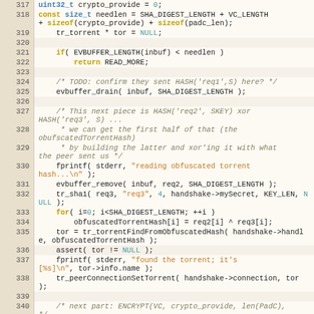[Figure (screenshot): Source code listing lines 317-340, C language, with line numbers on the left and syntax-highlighted code on the right]